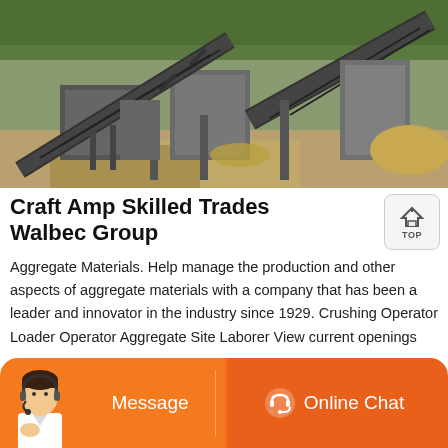[Figure (photo): Aerial view of an aggregate materials crushing and processing plant with conveyor belts, machinery, and stockpiles of rock/gravel on a construction/mining site surrounded by green trees.]
Craft Amp Skilled Trades Walbec Group
Aggregate Materials. Help manage the production and other aspects of aggregate materials with a company that has been a leader and innovator in the industry since 1929. Crushing Operator Loader Operator Aggregate Site Laborer View current openings
[Figure (infographic): Orange chat/contact bar at the bottom with a customer service representative icon, a 'Message' button on the left, and an 'Online Chat' button with a headset icon on the right.]